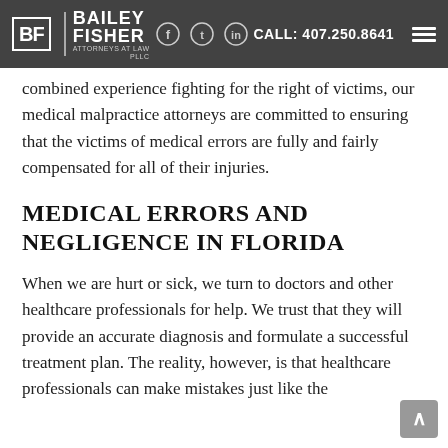[Figure (screenshot): Bailey Fisher PLLC Attorneys at Law navigation bar with logo, social media icons, phone number CALL: 407.250.8641, and hamburger menu]
combined experience fighting for the right of victims, our medical malpractice attorneys are committed to ensuring that the victims of medical errors are fully and fairly compensated for all of their injuries.
MEDICAL ERRORS AND NEGLIGENCE IN FLORIDA
When we are hurt or sick, we turn to doctors and other healthcare professionals for help. We trust that they will provide an accurate diagnosis and formulate a successful treatment plan. The reality, however, is that healthcare professionals can make mistakes just like the